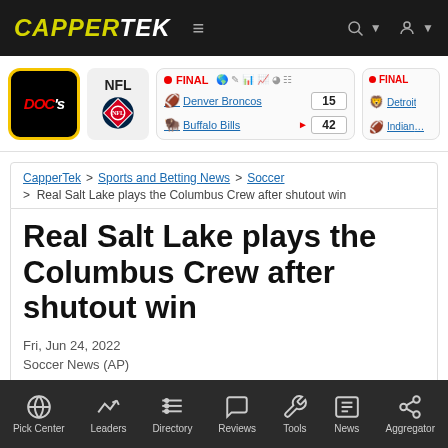CAPPERTEK
NFL | FINAL Denver Broncos 15 Buffalo Bills 42 | FINAL Detroit Indianapolis
CapperTek > Sports and Betting News > Soccer > Real Salt Lake plays the Columbus Crew after shutout win
Real Salt Lake plays the Columbus Crew after shutout win
Fri, Jun 24, 2022
Soccer News (AP)
Pick Center | Leaders | Directory | Reviews | Tools | News | Aggregator